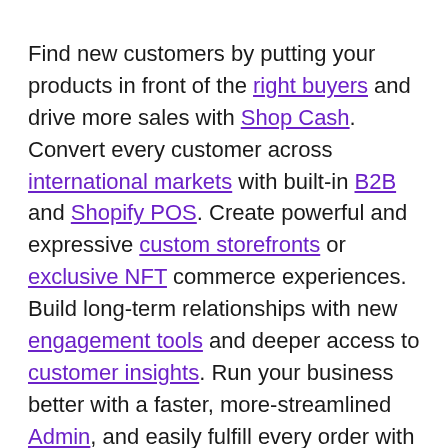Find new customers by putting your products in front of the right buyers and drive more sales with Shop Cash. Convert every customer across international markets with built-in B2B and Shopify POS. Create powerful and expressive custom storefronts or exclusive NFT commerce experiences. Build long-term relationships with new engagement tools and deeper access to customer insights. Run your business better with a faster, more-streamlined Admin, and easily fulfill every order with SFN and 2-day delivery. If there's something else you need, apps built on the world's best commerce platform have you covered.
The C2C era is here. Let's connect.